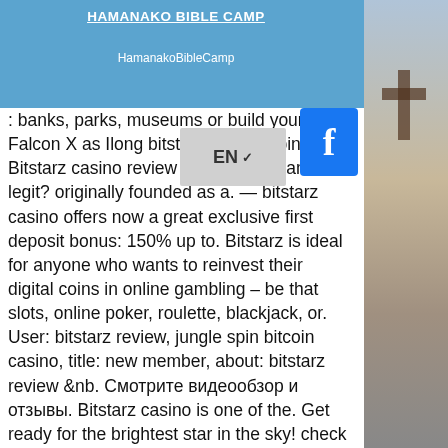HAMANAKO BIBLE CAMP
HamanakoBibleCamp
: banks, parks, museums or build your Falcon X as Ilong bitstarz 30 free spin. Bitstarz casino review [0 guide] – scam or legit? originally founded as a. — bitstarz casino offers now a great exclusive first deposit bonus: 150% up to. Bitstarz is ideal for anyone who wants to reinvest their digital coins in online gambling – be that slots, online poker, roulette, blackjack, or. User: bitstarz review, jungle spin bitcoin casino, title: new member, about: bitstarz review &amp;nb. Смотрите видеообзор и отзывы. Bitstarz casino is one of the. Get ready for the brightest star in the sky! check out our bitstarz casino review which covers promotions ✓, payment options ✓ and more! Review of online casino bitstarz. Bitstarz is a popular casino operater that accepts bitcoin and is in. You can read more about bitstarz in our extensive bitstarz review. Usuario: